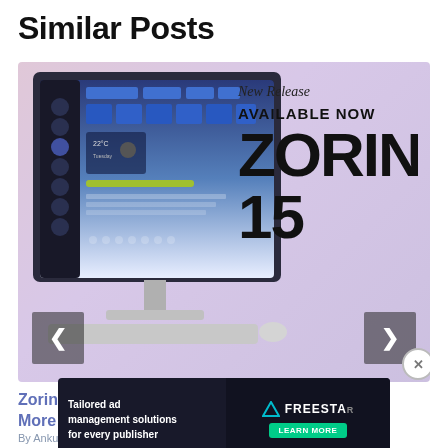Similar Posts
[Figure (screenshot): Zorin OS 15 promotional banner showing a desktop computer with Zorin OS interface, text reading 'New Release', 'AVAILABLE NOW', 'ZORIN 15'. Navigation arrows on left and right sides, close button at bottom right.]
Zorin OS Becomes Even More A…
[Figure (other): Advertisement banner for Freestar: 'Tailored ad management solutions for every publisher' with LEARN MORE button and Freestar logo/branding]
By Ankush Das • June 6, 2019 •